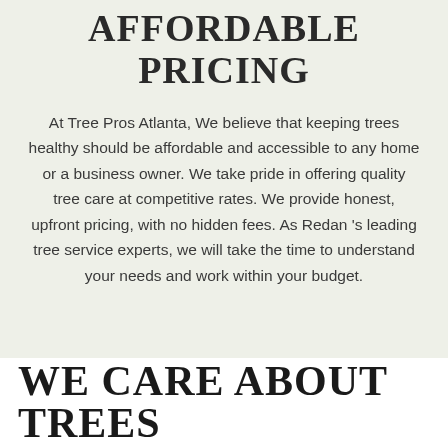AFFORDABLE PRICING
At Tree Pros Atlanta, We believe that keeping trees healthy should be affordable and accessible to any home or a business owner. We take pride in offering quality tree care at competitive rates. We provide honest, upfront pricing, with no hidden fees. As Redan 's leading tree service experts, we will take the time to understand your needs and work within your budget.
WE CARE ABOUT TREES